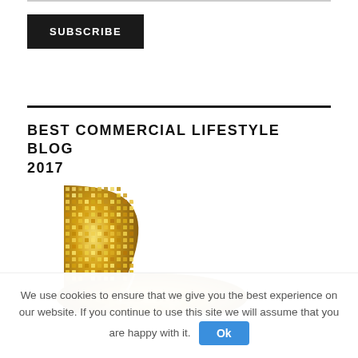SUBSCRIBE
BEST COMMERCIAL LIFESTYLE BLOG 2017
[Figure (photo): Gold mosaic award winner badge/trophy image with text 'GOLD WINNER' in gold lettering]
We use cookies to ensure that we give you the best experience on our website. If you continue to use this site we will assume that you are happy with it. Ok